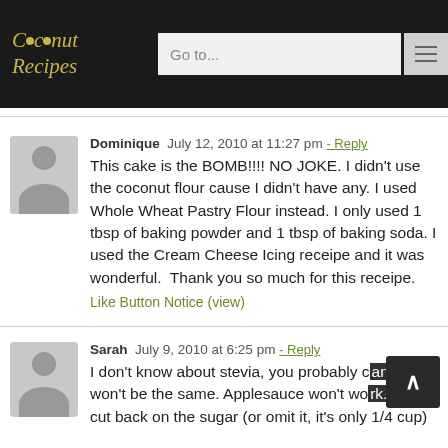Coconut Recipes — Go to...
Dominique  July 12, 2010 at 11:27 pm  - Reply
This cake is the BOMB!!!! NO JOKE. I didn't use the coconut flour cause I didn't have any. I used Whole Wheat Pastry Flour instead. I only used 1 tbsp of baking powder and 1 tbsp of baking soda. I used the Cream Cheese Icing receipe and it was wonderful.  Thank you so much for this receipe.
Like Button Notice (view)
Sarah  July 9, 2010 at 6:25 pm  - Reply
I don't know about stevia, you probably can but it won't be the same. Applesauce won't work. Just cut back on the sugar (or omit it, it's only 1/4 cup)